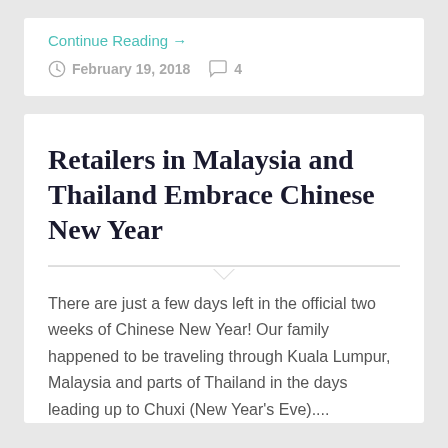Continue Reading →
February 19, 2018  4
Retailers in Malaysia and Thailand Embrace Chinese New Year
There are just a few days left in the official two weeks of Chinese New Year! Our family happened to be traveling through Kuala Lumpur, Malaysia and parts of Thailand in the days leading up to Chuxi (New Year's Eve)....